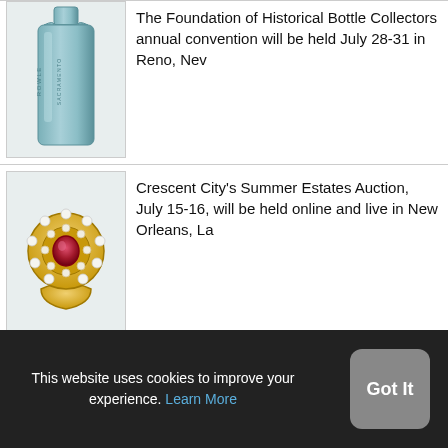[Figure (photo): Antique glass bottle with embossed lettering, teal/blue-green color]
The Federation of Historical Bottle Collectors annual convention will be held July 28-31 in Reno, Nev
[Figure (photo): Ornate ring with large oval ruby surrounded by pearls and diamonds in gold setting]
Crescent City's Summer Estates Auction, July 15-16, will be held online and live in New Orleans, La
This website uses cookies to improve your experience. Learn More